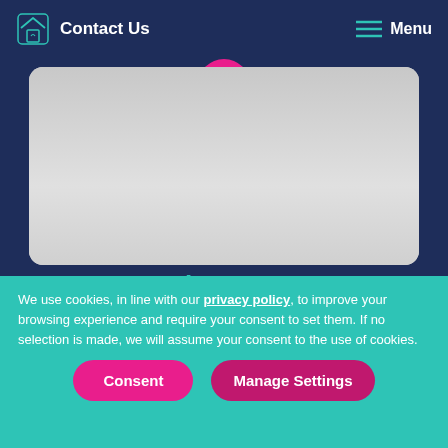Contact Us   Menu
[Figure (photo): A card/image area with a pink circular arrow button at the top center, showing a light gray background with rounded corners. Appears to show paws or fabric items.]
About Us
Find out about more about the friendly Vetsure team, our culture and our mission.
We use cookies, in line with our privacy policy, to improve your browsing experience and require your consent to set them. If no selection is made, we will assume your consent to the use of cookies.
Consent   Manage Settings